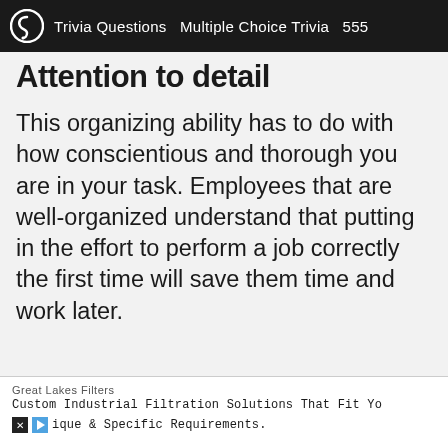Trivia Questions  Multiple Choice Trivia  555
Attention to detail
This organizing ability has to do with how conscientious and thorough you are in your task. Employees that are well-organized understand that putting in the effort to perform a job correctly the first time will save them time and work later.
Great Lakes Filters
Custom Industrial Filtration Solutions That Fit Yo
ique & Specific Requirements.